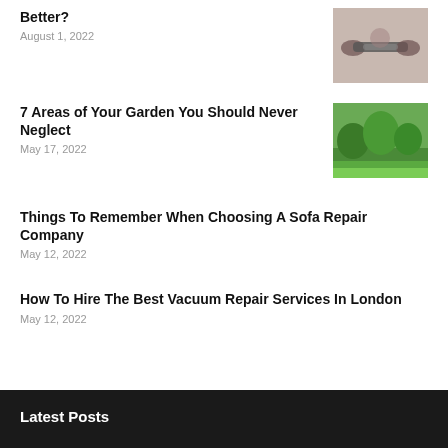Better?
August 1, 2022
[Figure (photo): Person holding dumbbells / fitness equipment]
7 Areas of Your Garden You Should Never Neglect
May 17, 2022
[Figure (photo): Green garden with trimmed hedges and lawn]
Things To Remember When Choosing A Sofa Repair Company
May 12, 2022
How To Hire The Best Vacuum Repair Services In London
May 12, 2022
Latest Posts